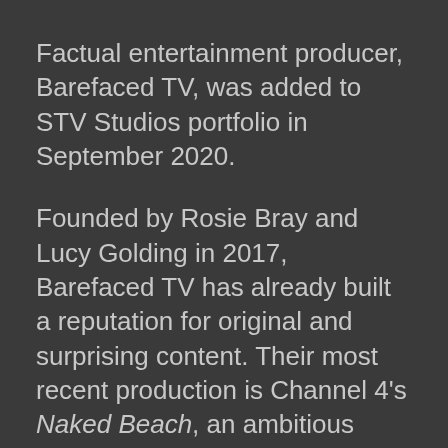Factual entertainment producer, Barefaced TV, was added to STV Studios portfolio in September 2020.
Founded by Rosie Bray and Lucy Golding in 2017, Barefaced TV has already built a reputation for original and surprising content. Their most recent production is Channel 4's Naked Beach, an ambitious format which performed well for the channel and has had international success, including a US option and a German remake.